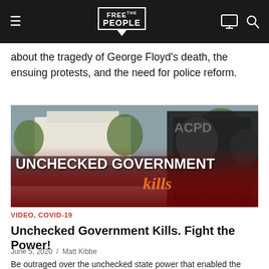Free the People — navigation bar with hamburger menu, logo, monitor icon, search icon
about the tragedy of George Floyd's death, the ensuing protests, and the need for police reform.
[Figure (photo): Protest scene with police in riot gear in front of white building. Overlay text reads: UNCHECKED GOVERNMENT Kills]
VIDEO, COVID-19
Unchecked Government Kills. Fight the Power!
June 5, 2020  /  Matt Kibbe
Be outraged over the unchecked state power that enabled the